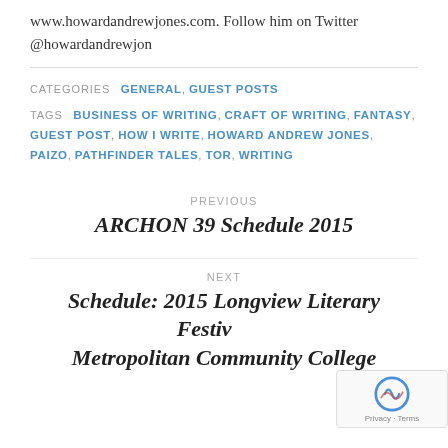www.howardandrewjones.com. Follow him on Twitter @howardandrewjon
CATEGORIES  GENERAL, GUEST POSTS
TAGS  BUSINESS OF WRITING, CRAFT OF WRITING, FANTASY, GUEST POST, HOW I WRITE, HOWARD ANDREW JONES, PAIZO, PATHFINDER TALES, TOR, WRITING
PREVIOUS
ARCHON 39 Schedule 2015
NEXT
Schedule: 2015 Longview Literary Festival Metropolitan Community College